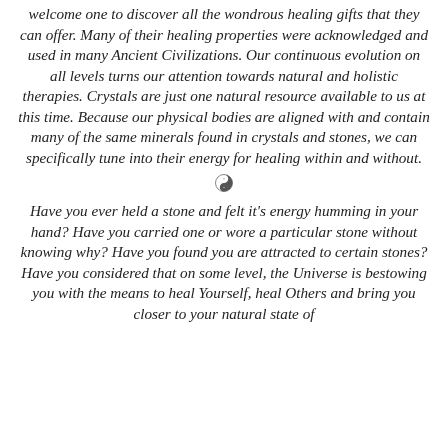welcome one to discover all the wondrous healing gifts that they can offer. Many of their healing properties were acknowledged and used in many Ancient Civilizations. Our continuous evolution on all levels turns our attention towards natural and holistic therapies. Crystals are just one natural resource available to us at this time. Because our physical bodies are aligned with and contain many of the same minerals found in crystals and stones, we can specifically tune into their energy for healing within and without.
[Figure (illustration): Small yin-yang symbol used as a divider]
Have you ever held a stone and felt it's energy humming in your hand? Have you carried one or wore a particular stone without knowing why? Have you found you are attracted to certain stones? Have you considered that on some level, the Universe is bestowing you with the means to heal Yourself, heal Others and bring you closer to your natural state of